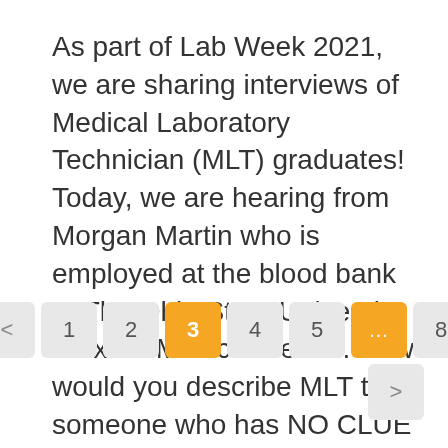As part of Lab Week 2021, we are sharing interviews of Medical Laboratory Technician (MLT) graduates! Today, we are hearing from Morgan Martin who is employed at the blood bank at The Ohio State University Wexner Medical Center. How would you describe MLT to someone who has NO CLUE what it is? We are…
< 1 2 3 4 5 ... 8 >